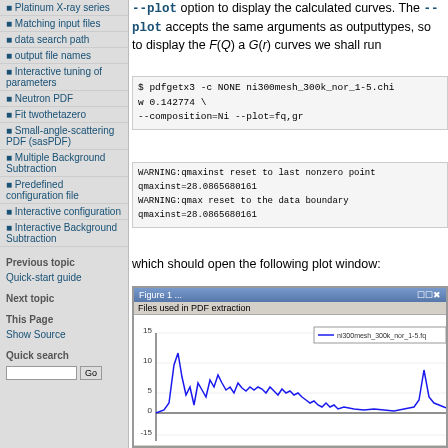--plot option to display the calculated curves. The --plot accepts the same arguments as outputtypes, so to display the F(Q) and G(r) curves we shall run
Platinum X-ray series
Matching input files
data search path
output file names
Interactive tuning of parameters
Neutron PDF
Fit twothetazero
Small-angle-scattering PDF (sasPDF)
Multiple Background Subtraction
Predefined configuration file
Interactive configuration
Interactive Background Subtraction
Previous topic
Quick-start guide
Next topic
This Page
Show Source
Quick search
WARNING: qmaxinst reset to last nonzero point
qmaxinst=28.0865680161
WARNING: qmax reset to the data boundary
qmaxinst=28.0865680161
which should open the following plot window:
[Figure (screenshot): Plot window screenshot showing Files used in PDF extraction with a line chart of ni300mesh_300k_nor_1-5.fq data, with y-axis from -15 to 15 and search bar at bottom]